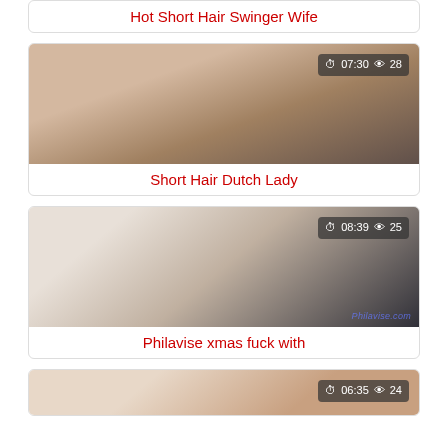Hot Short Hair Swinger Wife
[Figure (photo): Video thumbnail showing adult content with duration badge 07:30 and view count 28]
Short Hair Dutch Lady
[Figure (photo): Video thumbnail showing adult content with duration badge 08:39 and view count 25, watermark philavise.com]
Philavise xmas fuck with
[Figure (photo): Video thumbnail showing adult content with duration badge 06:35 and view count 24]